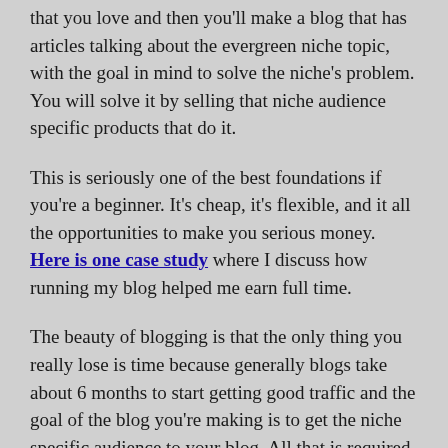that you love and then you'll make a blog that has articles talking about the evergreen niche topic, with the goal in mind to solve the niche's problem. You will solve it by selling that niche audience specific products that do it.
This is seriously one of the best foundations if you're a beginner. It's cheap, it's flexible, and it all the opportunities to make you serious money. Here is one case study where I discuss how running my blog helped me earn full time.
The beauty of blogging is that the only thing you really lose is time because generally blogs take about 6 months to start getting good traffic and the goal of the blog you're making is to get the niche specific audience to your blog. All that is required for you to do this is to think up how...